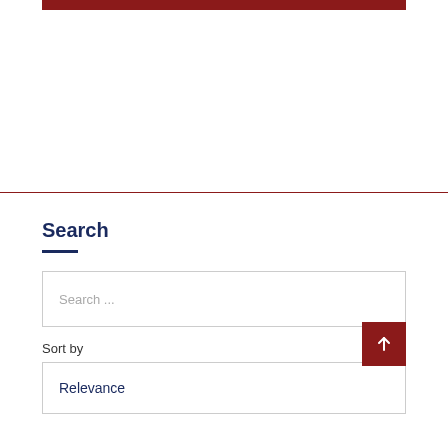Search
Search ...
Sort by
Relevance